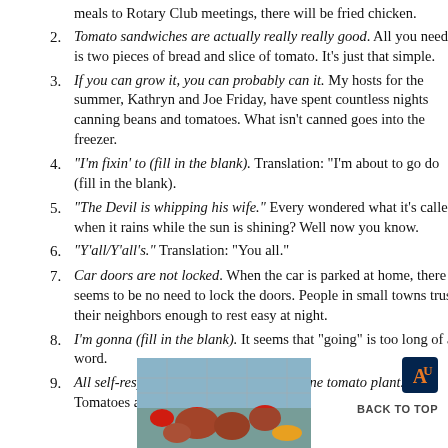meals to Rotary Club meetings, there will be fried chicken.
Tomato sandwiches are actually really really good. All you need is two pieces of bread and slice of tomato. It’s just that simple.
If you can grow it, you can probably can it. My hosts for the summer, Kathryn and Joe Friday, have spent countless nights canning beans and tomatoes. What isn’t canned goes into the freezer.
“I’m fixin’ to (fill in the blank). Translation: “I’m about to go do (fill in the blank).
“The Devil is whipping his wife.” Every wondered what it’s called when it rains while the sun is shining? Well now you know.
“Y’all/Y’all’s.” Translation: “You all.”
Car doors are not locked. When the car is parked at home, there seems to be no need to lock the doors. People in small towns trust their neighbors enough to rest easy at night.
I’m gonna (fill in the blank). It seems that “going” is too long of a word.
All self-respecting people have at least one tomato plant. Tomatoes are big thing in the summer.
[Figure (photo): Photo of tomatoes and vegetables on a surface, partially visible at bottom of page]
BACK TO TOP